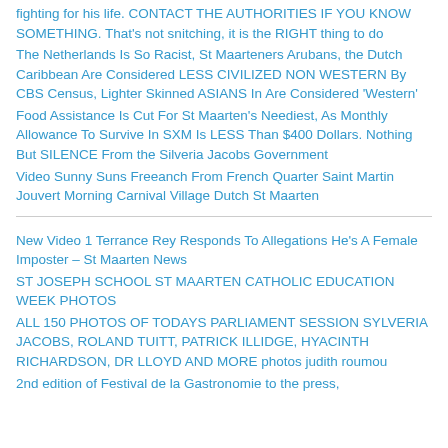fighting for his life. CONTACT THE AUTHORITIES IF YOU KNOW SOMETHING. That's not snitching, it is the RIGHT thing to do
The Netherlands Is So Racist, St Maarteners Arubans, the Dutch Caribbean Are Considered LESS CIVILIZED NON WESTERN By CBS Census, Lighter Skinned ASIANS In Are Considered 'Western'
Food Assistance Is Cut For St Maarten's Neediest, As Monthly Allowance To Survive In SXM Is LESS Than $400 Dollars. Nothing But SILENCE From the Silveria Jacobs Government
Video Sunny Suns Freeanch From French Quarter Saint Martin Jouvert Morning Carnival Village Dutch St Maarten
New Video 1 Terrance Rey Responds To Allegations He's A Female Imposter – St Maarten News
ST JOSEPH SCHOOL ST MAARTEN CATHOLIC EDUCATION WEEK PHOTOS
ALL 150 PHOTOS OF TODAYS PARLIAMENT SESSION SYLVERIA JACOBS, ROLAND TUITT, PATRICK ILLIDGE, HYACINTH RICHARDSON, DR LLOYD AND MORE photos judith roumou
2nd edition of Festival de la Gastronomie to the press,